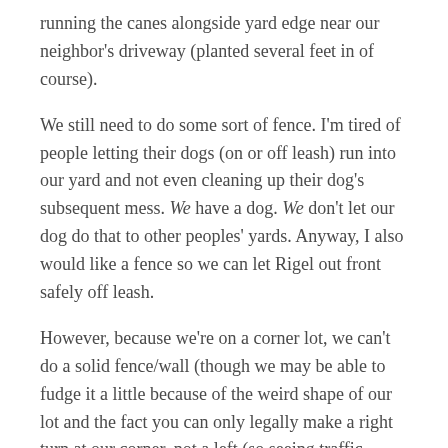running the canes alongside yard edge near our neighbor's driveway (planted several feet in of course).
We still need to do some sort of fence. I'm tired of people letting their dogs (on or off leash) run into our yard and not even cleaning up their dog's subsequent mess. We have a dog. We don't let our dog do that to other peoples' yards. Anyway, I also would like a fence so we can let Rigel out front safely off leash.
However, because we're on a corner lot, we can't do a solid fence/wall (though we may be able to fudge it a little because of the weird shape of our lot and the fact you can only legally make a right turn at our corner, not a left (so seeing traffic coming from the right is not so critical (assuming whoever's driving can stay on their side of the road))).
A typical picket fence just doesn't look right with the